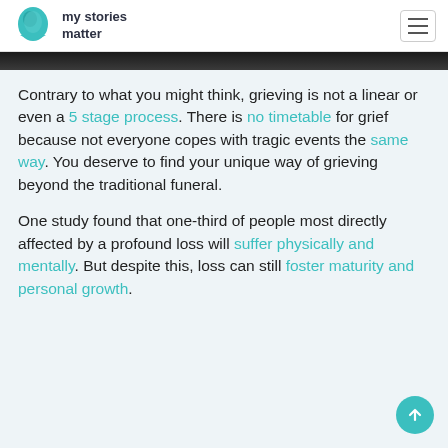my stories matter
[Figure (photo): Dark image strip at top of content area]
Contrary to what you might think, grieving is not a linear or even a 5 stage process. There is no timetable for grief because not everyone copes with tragic events the same way. You deserve to find your unique way of grieving beyond the traditional funeral.
One study found that one-third of people most directly affected by a profound loss will suffer physically and mentally. But despite this, loss can still foster maturity and personal growth.